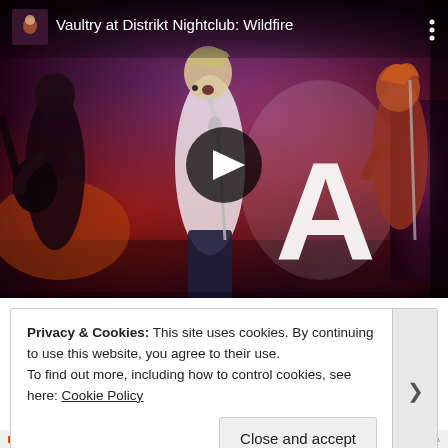[Figure (screenshot): YouTube video thumbnail showing a band performing live at Distrikt Nightclub. The video title reads 'Vaultry at Distrikt Nightclub: Wildfire'. A lead singer in a white shirt holds a microphone at center stage with other band members visible. A large illuminated letter 'A' is visible in the background. A play button overlay is shown in the center of the video.]
Privacy & Cookies: This site uses cookies. By continuing to use this website, you agree to their use.
To find out more, including how to control cookies, see here: Cookie Policy
Close and accept